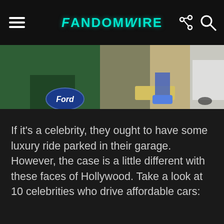FandomWire
[Figure (photo): Close-up photo of the front of a green car with a Ford oval badge visible, and a person's legs/feet in sneakers visible in the background, along with a white car]
If it’s a celebrity, they ought to have some luxury ride parked in their garage. However, the case is a little different with these faces of Hollywood. Take a look at 10 celebrities who drive affordable cars: